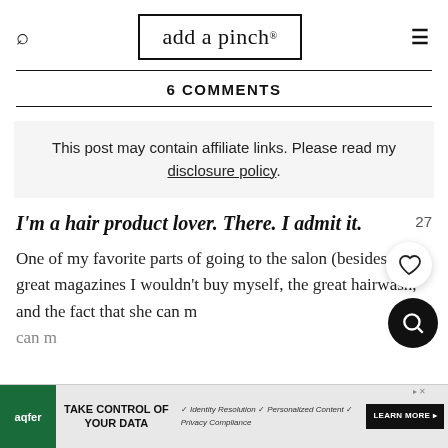add a pinch.
6 COMMENTS
This post may contain affiliate links. Please read my disclosure policy.
I'm a hair product lover. There. I admit it.
One of my favorite parts of going to the salon (besides the great magazines I wouldn't buy myself, the great hairwash, and the fact that she can m... d it could ... ducts
[Figure (screenshot): Ad banner: TAKE CONTROL OF YOUR DATA by aqfer with checkmarks for Identity Resolution, Personalized Content, Privacy Compliance and LEARN MORE button]